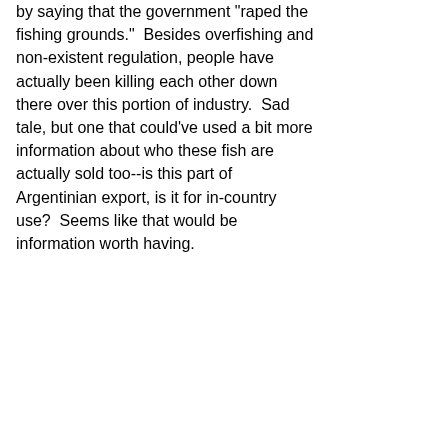by saying that the government "raped the fishing grounds."  Besides overfishing and non-existent regulation, people have actually been killing each other down there over this portion of industry.  Sad tale, but one that could've used a bit more information about who these fish are actually sold too--is this part of Argentinian export, is it for in-country use?  Seems like that would be information worth having.